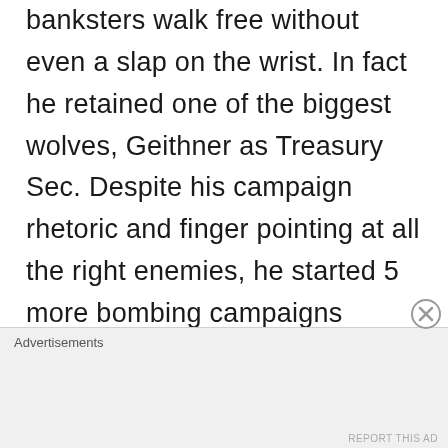banksters walk free without even a slap on the wrist. In fact he retained one of the biggest wolves, Geithner as Treasury Sec. Despite his campaign rhetoric and finger pointing at all the right enemies, he started 5 more bombing campaigns besides the two he inherited. He sold nearly $200B (that's a B) worth of arms to the Saudis, spied on his own citizens as well as assassinating 2 without due process. Etc. And then had the gall to
Advertisements